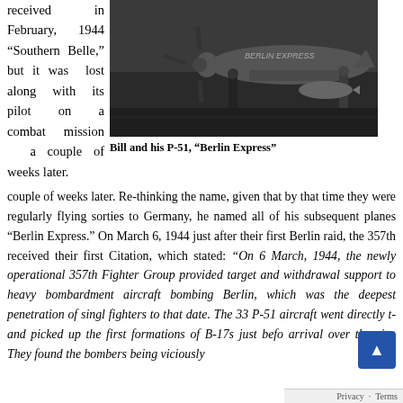received in February, 1944 “Southern Belle,” but it was lost along with its pilot on a combat mission a couple of weeks later.
[Figure (photo): Black and white photograph of Bill standing next to his P-51 aircraft named 'Berlin Express'. Two people visible near the propeller aircraft on the ground.]
Bill and his P-51, “Berlin Express”
Re-thinking the name, given that by that time they were regularly flying sorties to Germany, he named all of his subsequent planes “Berlin Express.” On March 6, 1944 just after their first Berlin raid, the 357th received their first Citation, which stated: “On 6 March, 1944, the newly operational 357th Fighter Group provided target and withdrawal support to heavy bombardment aircraft bombing Berlin, which was the deepest penetration of single-engine fighters to that date. The 33 P-51 aircraft went directly to and picked up the first formations of B-17s just before arrival over the city. They found the bombers being viciously